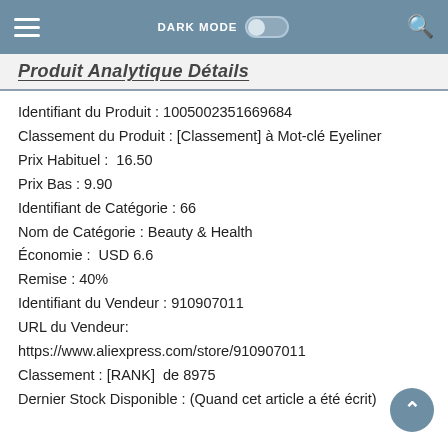DARK MODE  [toggle]  [search icon]
[partial title text visible, cut off]
Identifiant du Produit : 1005002351669684
Classement du Produit : [Classement] à Mot-clé Eyeliner
Prix Habituel :  16.50
Prix Bas : 9.90
Identifiant de Catégorie : 66
Nom de Catégorie : Beauty & Health
Économie :  USD 6.6
Remise : 40%
Identifiant du Vendeur : 910907011
URL du Vendeur: https://www.aliexpress.com/store/910907011
Classement : [RANK]  de 8975
Dernier Stock Disponible : (Quand cet article a été écrit)